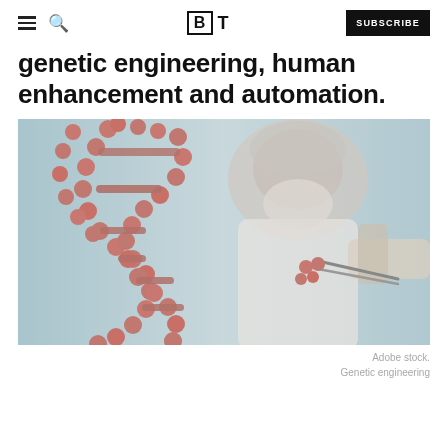BT SUBSCRIBE
genetic engineering, human enhancement and automation.
[Figure (photo): A scientist in protective gear holding tweezers next to a 3D model of a DNA double helix strand, representing genetic engineering.]
Adobe stock.
Genetic engineering